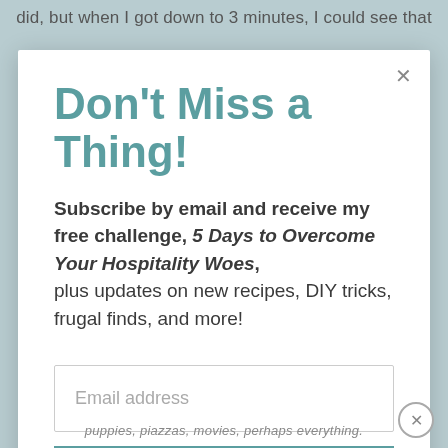did, but when I got down to 3 minutes, I could see that
Don't Miss a Thing!
Subscribe by email and receive my free challenge, 5 Days to Overcome Your Hospitality Woes, plus updates on new recipes, DIY tricks, frugal finds, and more!
Email address
SUBSCRIBE
puppies, piazzas, movies, perhaps everything.